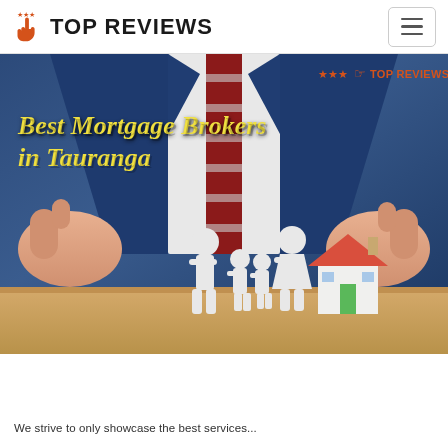TOP REVIEWS
[Figure (photo): Hero image showing a businessman in a blue suit gesturing with both hands, with paper cutout family figures and a small model house on a desk. Overlay text reads 'Best Mortgage Brokers in Tauranga' and a 'TOP REVIEWS' logo watermark appears in the top right.]
We strive to only showcase the best services...